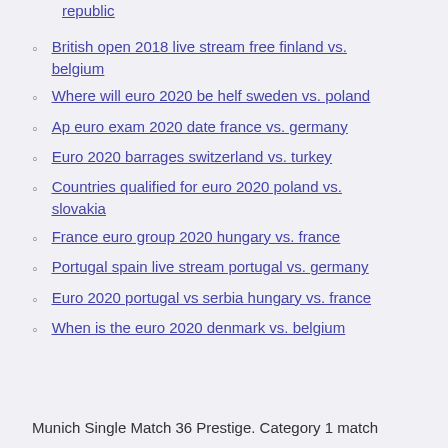republic
British open 2018 live stream free finland vs. belgium
Where will euro 2020 be helf sweden vs. poland
Ap euro exam 2020 date france vs. germany
Euro 2020 barrages switzerland vs. turkey
Countries qualified for euro 2020 poland vs. slovakia
France euro group 2020 hungary vs. france
Portugal spain live stream portugal vs. germany
Euro 2020 portugal vs serbia hungary vs. france
When is the euro 2020 denmark vs. belgium
Munich Single Match 36 Prestige. Category 1 match